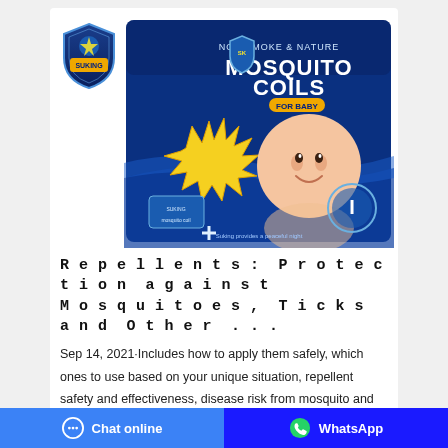[Figure (photo): Product image of Suking Non Smoke & Nature Mosquito Coils For Baby packaging, showing a smiling baby and a starburst graphic on a blue box, alongside a shield-shaped Suking logo]
Repellents: Protection against Mosquitoes, Ticks and Other ...
Sep 14, 2021·Includes how to apply them safely, which ones to use based on your unique situation, repellent safety and effectiveness, disease risk from mosquito and tick bites, protection time, active ingredients, EPA regulation and registration, and product labeling